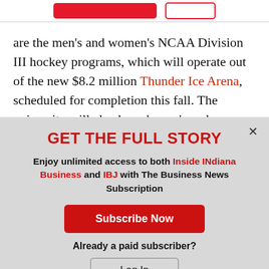are the men's and women's NCAA Division III hockey programs, which will operate out of the new $8.2 million Thunder Ice Arena, scheduled for completion this fall. The university will also launch men's and women's club bowling and an esports
GET THE FULL STORY
Enjoy unlimited access to both Inside INdiana Business and IBJ with The Business News Subscription
Subscribe Now
Already a paid subscriber?
Log In